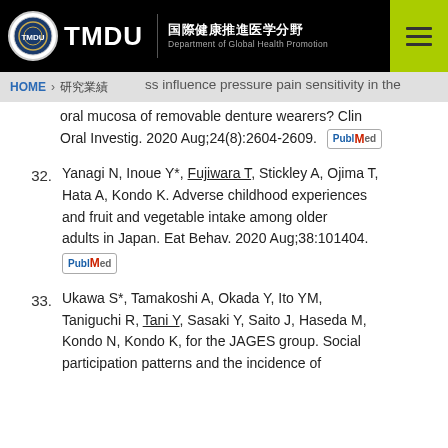TMDU 国際健康推進医学分野 Department of Global Health Promotion
HOME > 研究業績 ss influence pressure pain sensitivity in the oral mucosa of removable denture wearers? Clin Oral Investig. 2020 Aug;24(8):2604-2609. [PubMed]
32. Yanagi N, Inoue Y*, Fujiwara T, Stickley A, Ojima T, Hata A, Kondo K. Adverse childhood experiences and fruit and vegetable intake among older adults in Japan. Eat Behav. 2020 Aug;38:101404. [PubMed]
33. Ukawa S*, Tamakoshi A, Okada Y, Ito YM, Taniguchi R, Tani Y, Sasaki Y, Saito J, Haseda M, Kondo N, Kondo K, for the JAGES group. Social participation patterns and the incidence of